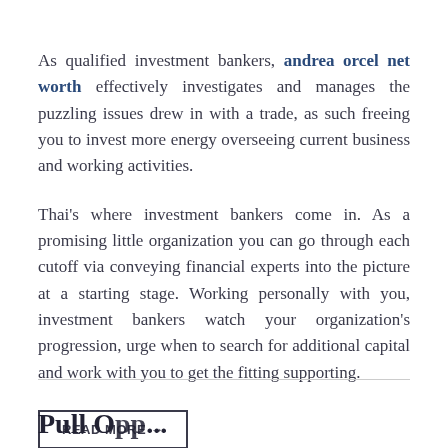As qualified investment bankers, andrea orcel net worth effectively investigates and manages the puzzling issues drew in with a trade, as such freeing you to invest more energy overseeing current business and working activities.
Thai's where investment bankers come in. As a promising little organization you can go through each cutoff via conveying financial experts into the picture at a starting stage. Working personally with you, investment bankers watch your organization's progression, urge when to search for additional capital and work with you to get the fitting supporting.
READ MORE →
Pull Opp...